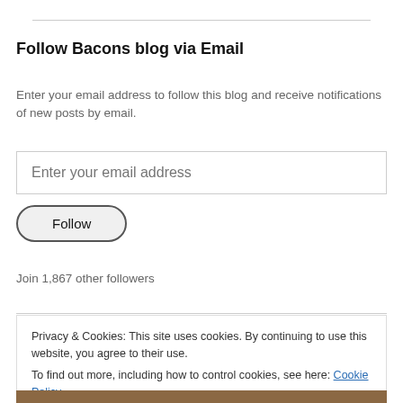Follow Bacons blog via Email
Enter your email address to follow this blog and receive notifications of new posts by email.
Enter your email address
Follow
Join 1,867 other followers
Privacy & Cookies: This site uses cookies. By continuing to use this website, you agree to their use.
To find out more, including how to control cookies, see here: Cookie Policy
Close and accept